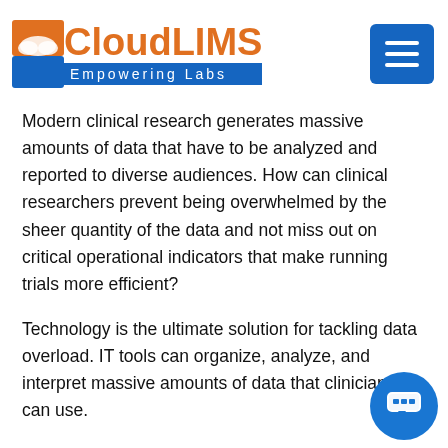CloudLIMS Empowering Labs
Modern clinical research generates massive amounts of data that have to be analyzed and reported to diverse audiences. How can clinical researchers prevent being overwhelmed by the sheer quantity of the data and not miss out on critical operational indicators that make running trials more efficient?
Technology is the ultimate solution for tackling data overload. IT tools can organize, analyze, and interpret massive amounts of data that clinicians can use.
Electronic Health Records (EHRs) is one such tool that facilitates clinical research and supports decision-making about the effectiveness of drugs and therapeutic strategies. EHR can help hospitals keep up with data flow through several intuitive features, such as alerts and automat... tracking tools. By engaging an enterprise EHR, hospitals can